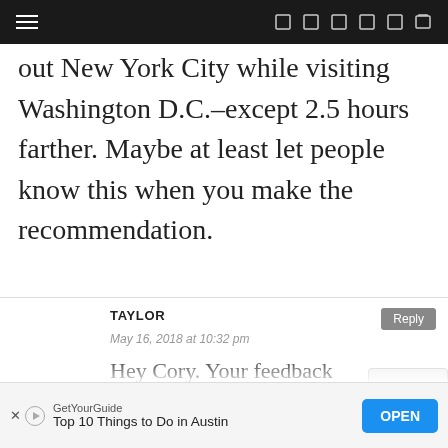Navigation bar with hamburger menu and icons
out New York City while visiting Washington D.C.–except 2.5 hours farther. Maybe at least let people know this when you make the recommendation.
TAYLOR
May 16, 2018 at 10:32 pm
Hey Cory. Your feedback makes sense. That section is
GetYourGuide — Top 10 Things to Do in Austin — OPEN